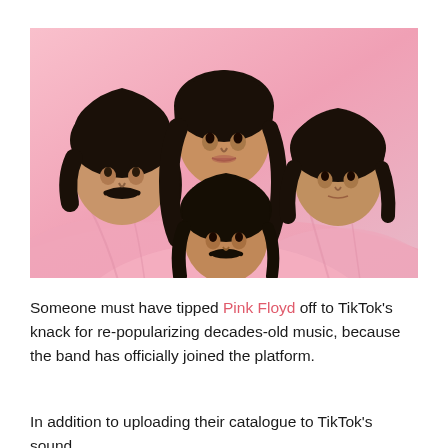[Figure (photo): Pink Floyd band photo — four members with dark hair draped in pink fabric against a pink background]
Someone must have tipped Pink Floyd off to TikTok's knack for re-popularizing decades-old music, because the band has officially joined the platform.
In addition to uploading their catalogue to TikTok's sound